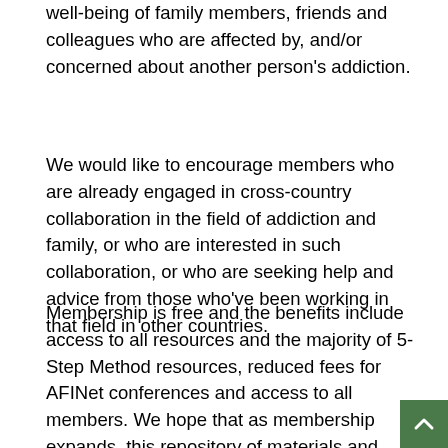well-being of family members, friends and colleagues who are affected by, and/or concerned about another person's addiction.
We would like to encourage members who are already engaged in cross-country collaboration in the field of addiction and family, or who are interested in such collaboration, or who are seeking help and advice from those who've been working in that field in other countries.
Membership is free and the benefits include access to all resources and the majority of 5-Step Method resources, reduced fees for AFINet conferences and access to all members. We hope that as membership expands, this repository of materials and documents will grow with your help.